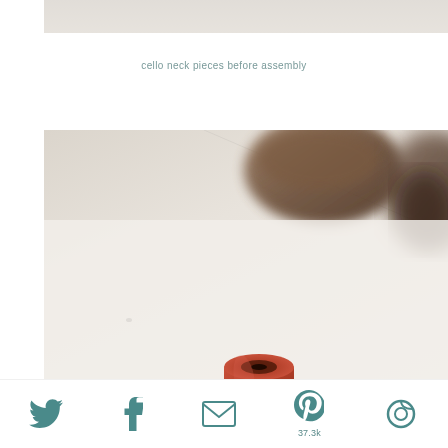[Figure (photo): Partial view of a surface — top cropped photo showing a light background, likely the same table scene as the main photo below.]
cello neck pieces before assembly
[Figure (photo): Close-up photograph on a white surface showing small orange/terracotta rolled paper or clay cello neck pieces in the foreground, with blurred dark wooden objects (bowls or instruments) in the background.]
Twitter share, Facebook share, Email share, Pinterest share 37.3k, another share icon